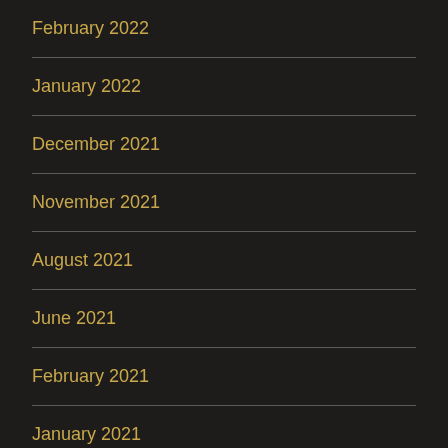February 2022
January 2022
December 2021
November 2021
August 2021
June 2021
February 2021
January 2021
November 2020